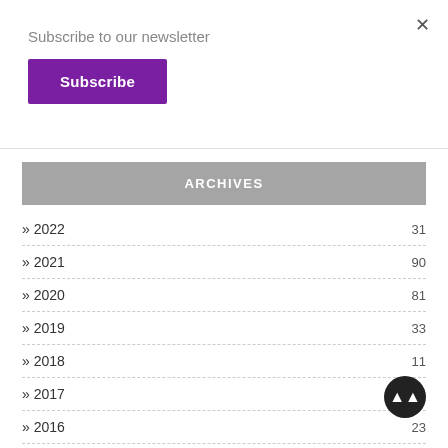Subscribe to our newsletter
Subscribe
ARCHIVES
> 2022   31
> 2021   90
> 2020   81
> 2019   33
> 2018   11
> 2017   5
> 2016   23